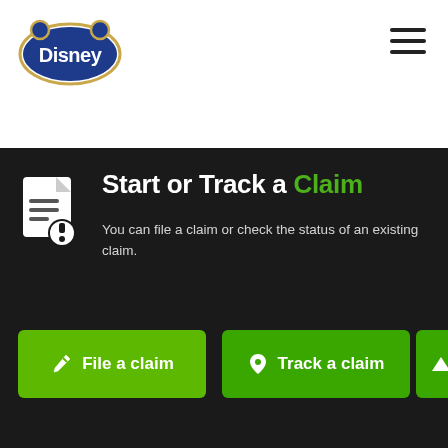[Figure (logo): Disney logo — blue oval with 'Disney' text in stylized lettering with gold oval border]
[Figure (other): Hamburger menu icon with three horizontal lines]
[Figure (other): Document with exclamation mark icon in white on dark background]
Start or Track a Claim
You can file a claim or check the status of an existing claim.
[Figure (other): Green button: pen icon with 'File a claim' text]
[Figure (other): Green button: location pin icon with 'Track a claim' text]